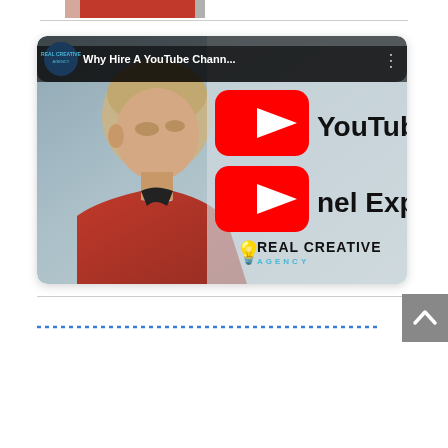[Figure (screenshot): YouTube video thumbnail for 'Why Hire A YouTube Chann...' by Real Creative Agency. Shows a man in a red shirt on left, YouTube play buttons and 'YouTube Channel Experts' text overlaid on right, with Real Creative Agency logo at bottom.]
[Figure (other): Scroll-to-top button (upward chevron arrow in grey square)]